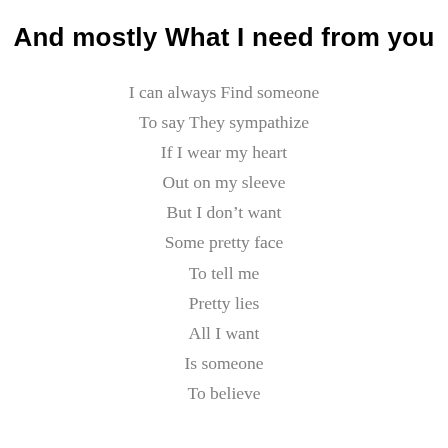And mostly What I need from you
I can always Find someone
To say They sympathize
If I wear my heart
Out on my sleeve
But I don't want
Some pretty face
To tell me
Pretty lies
All I want
Is someone
To believe
I can find a lover